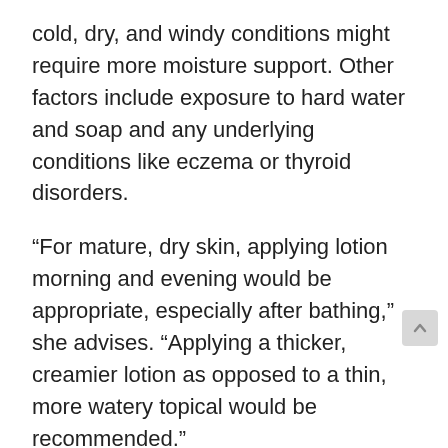cold, dry, and windy conditions might require more moisture support. Other factors include exposure to hard water and soap and any underlying conditions like eczema or thyroid disorders.
“For mature, dry skin, applying lotion morning and evening would be appropriate, especially after bathing,” she advises. “Applying a thicker, creamier lotion as opposed to a thin, more watery topical would be recommended.”
Take a look at some anti-aging body lotions recommended by Wesley and our editors below.
“Arbonne RE9 Advanced firming body cream is a luxurious-feeling cream with sunflower seed oil, fatty